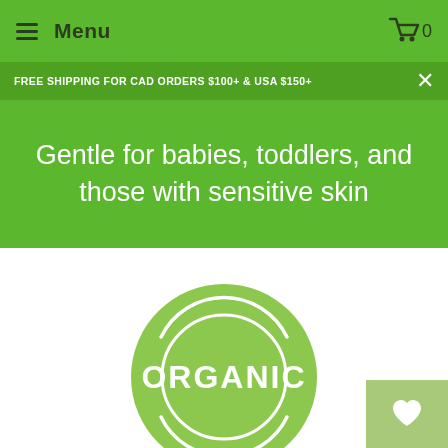Menu
FREE SHIPPING FOR CAD ORDERS $100+ & USA $150+
Gentle for babies, toddlers, and those with sensitive skin
[Figure (logo): Green circular organic badge with the word ORGANIC in bold white uppercase letters, surrounded by two concentric arcs at top and bottom]
[Figure (other): Olive-green square button with a white heart icon]